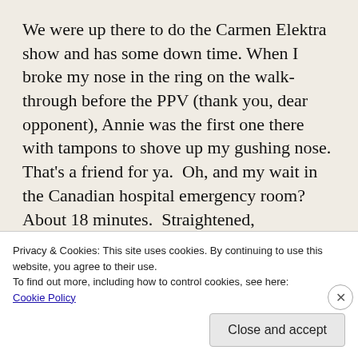We were up there to do the Carmen Elektra show and has some down time. When I broke my nose in the ring on the walk-through before the PPV (thank you, dear opponent), Annie was the first one there with tampons to shove up my gushing nose. That's a friend for ya.  Oh, and my wait in the Canadian hospital emergency room? About 18 minutes.  Straightened, cauterized, packed with gauze. They also did an x-ray for my ankle at no extra bother, which was acting up since Mexico. In
Privacy & Cookies: This site uses cookies. By continuing to use this website, you agree to their use.
To find out more, including how to control cookies, see here:
Cookie Policy
Close and accept